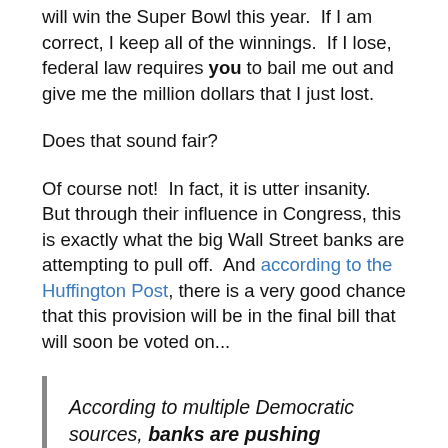will win the Super Bowl this year. If I am correct, I keep all of the winnings. If I lose, federal law requires you to bail me out and give me the million dollars that I just lost.
Does that sound fair?
Of course not! In fact, it is utter insanity. But through their influence in Congress, this is exactly what the big Wall Street banks are attempting to pull off. And according to the Huffington Post, there is a very good chance that this provision will be in the final bill that will soon be voted on...
According to multiple Democratic sources, banks are pushing